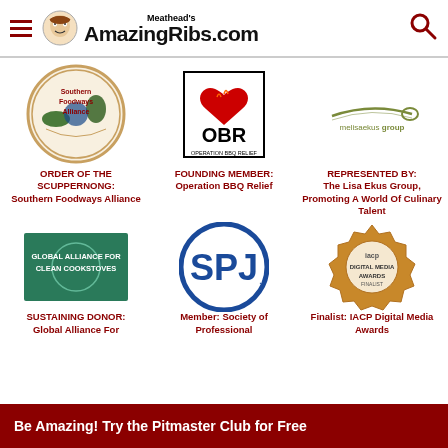Meathead's AmazingRibs.com
[Figure (logo): Southern Foodways Alliance circular logo with food illustrations]
ORDER OF THE SCUPPERNONG: Southern Foodways Alliance
[Figure (logo): Operation BBQ Relief logo with heart and flame on black/white box labeled OBR]
FOUNDING MEMBER: Operation BBQ Relief
[Figure (logo): melisaekus group text logo in olive/grey]
REPRESENTED BY: The Lisa Ekus Group, Promoting A World Of Culinary Talent
[Figure (logo): Global Alliance for Clean Cookstoves green rectangular logo]
SUSTAINING DONOR: Global Alliance For
[Figure (logo): SPJ Society of Professional Journalists circular blue logo]
Member: Society of Professional
[Figure (logo): IACP Digital Media Awards Finalist badge in gold/bronze]
Finalist: IACP Digital Media Awards
Be Amazing! Try the Pitmaster Club for Free